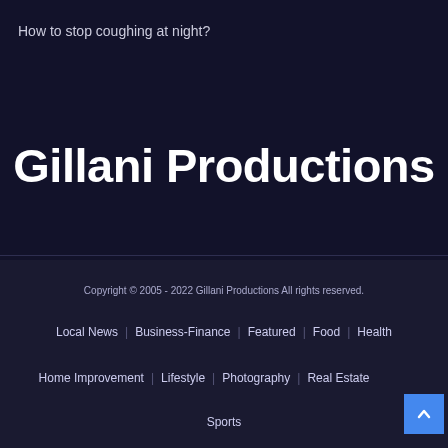How to stop coughing at night?
Gillani Productions
Copyright © 2005 - 2022 Gillani Productions All rights reserved.
Local News    Business-Finance    Featured    Food    Health
Home Improvement    Lifestyle    Photography    Real Estate
Sports